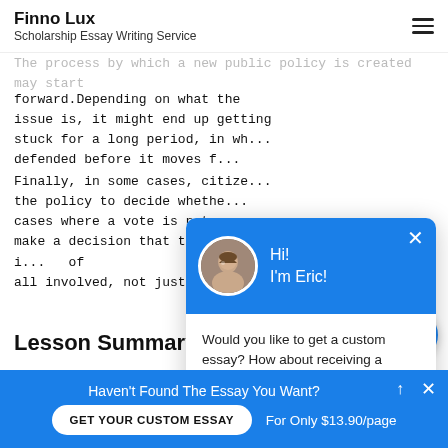Finno Lux
Scholarship Essay Writing Service
The process by which a new public policy is created may start
forward.Depending on what the issue is, it might end up getting stuck for a long period, in wh... defended before it moves f...
Finally, in some cases, citize... the policy to decide whethe... cases where a vote is not re... make a decision that takes i... of all involved, not just their ow...
Lesson Summary
Though it can often be hard to define or identify, a public
[Figure (other): Chat popup widget with avatar of Eric, greeting 'Hi! I'm Eric!', message 'Would you like to get a custom essay? How about receiving a customized one?', and 'Check it out' link. Blue header with white close X button.]
[Figure (other): Blue circular chat button with speech bubble icon]
Haven't Found The Essay You Want?
GET YOUR CUSTOM ESSAY  For Only $13.90/page